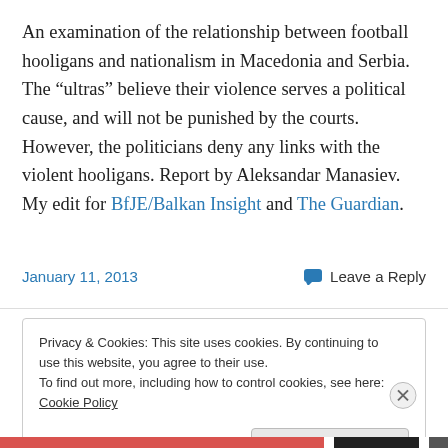An examination of the relationship between football hooligans and nationalism in Macedonia and Serbia. The “ultras” believe their violence serves a political cause, and will not be punished by the courts. However, the politicians deny any links with the violent hooligans. Report by Aleksandar Manasiev. My edit for BfJE/Balkan Insight and The Guardian.
January 11, 2013    Leave a Reply
Privacy & Cookies: This site uses cookies. By continuing to use this website, you agree to their use.
To find out more, including how to control cookies, see here: Cookie Policy